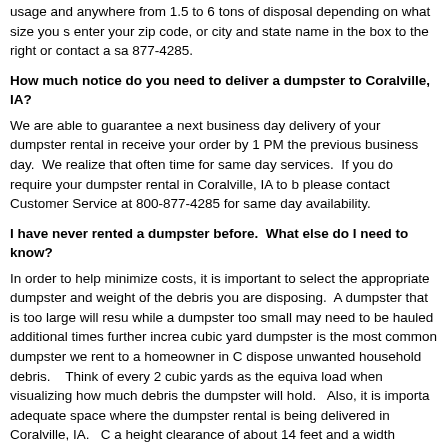usage and anywhere from 1.5 to 6 tons of disposal depending on what size you s enter your zip code, or city and state name in the box to the right or contact a sa 877-4285.
How much notice do you need to deliver a dumpster to Coralville, IA?
We are able to guarantee a next business day delivery of your dumpster rental in receive your order by 1 PM the previous business day. We realize that often time for same day services. If you do require your dumpster rental in Coralville, IA to b please contact Customer Service at 800-877-4285 for same day availability.
I have never rented a dumpster before. What else do I need to know?
In order to help minimize costs, it is important to select the appropriate dumpster and weight of the debris you are disposing. A dumpster that is too large will resu while a dumpster too small may need to be hauled additional times further increa cubic yard dumpster is the most common dumpster we rent to a homeowner in C dispose unwanted household debris. Think of every 2 cubic yards as the equiva load when visualizing how much debris the dumpster will hold. Also, it is importa adequate space where the dumpster rental is being delivered in Coralville, IA. C a height clearance of about 14 feet and a width clearance of 11 feet when deliver Coralville, IA.
How can I pay for the dumpster?
We accept Visa, MasterCard, American Express or Discover Card for our dumpst
Do I need to do anything else at the dumpster site?